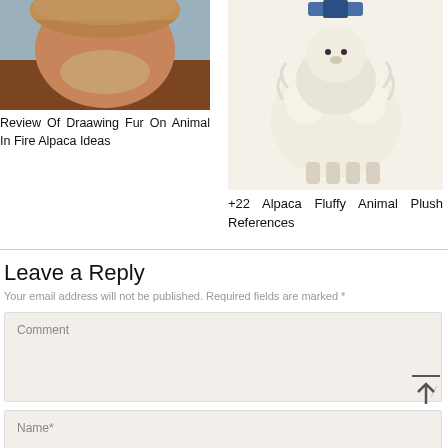[Figure (photo): Photo of a person with a beard wearing a brown furry hat, cropped at top]
Review Of Draawing Fur On Animal In Fire Alpaca Ideas
[Figure (photo): Photo of a white fluffy alpaca plush toy with a blue bow on its head]
+22 Alpaca Fluffy Animal Plush References
Leave a Reply
Your email address will not be published. Required fields are marked *
Comment
Name*
Email*